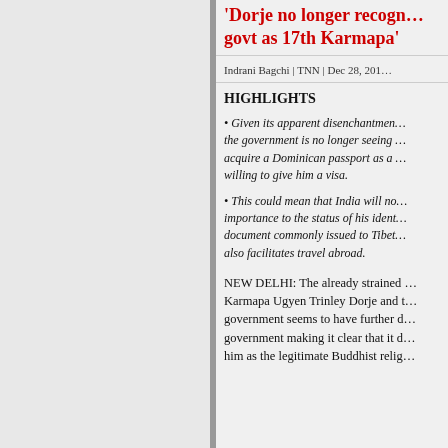'Dorje no longer recognised by govt as 17th Karmapa'
Indrani Bagchi | TNN | Dec 28, 201…
HIGHLIGHTS
Given its apparent disenchantment, the government is no longer seeing … acquire a Dominican passport as a … willing to give him a visa.
This could mean that India will no… importance to the status of his ident… document commonly issued to Tibet… also facilitates travel abroad.
NEW DELHI: The already strained … Karmapa Ugyen Trinley Dorje and t… government seems to have further d… government making it clear that it d… him as the legitimate Buddhist relig…